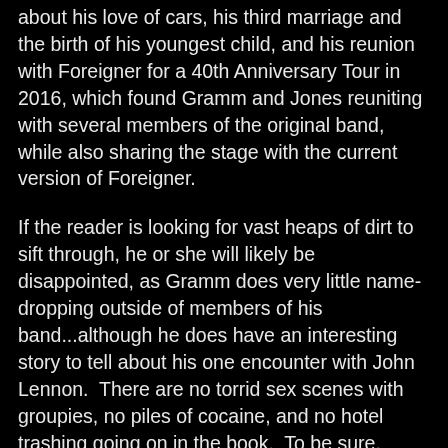about his love of cars, his third marriage and the birth of his youngest child, and his reunion with Foreigner for a 40th Anniversary Tour in 2016, which found Gramm and Jones reuniting with several members of the original band, while also sharing the stage with the current version of Foreigner.
If the reader is looking for vast heaps of dirt to sift through, he or she will likely be disappointed, as Gramm does very little name-dropping outside of members of his band...although he does have an interesting story to tell about his one encounter with John Lennon.  There are no torrid sex scenes with groupies, no piles of cocaine, and no hotel trashing going on in the book.  To be sure, Gramm admits to having addiction issues with alcohol and drugs, but there are no highly detailed episodes to speak of, although he does go into a bit of detail about the incident that led to his final admission to rehab some 22 years ago, and about how his discovery of a full faith in Jesus Christ turned his life around.  Gramm talks about his regrets to having not been there for his earliest children, his two failed marriages, and some bad decisions he made as he climbed the ladder of rock n roll success.